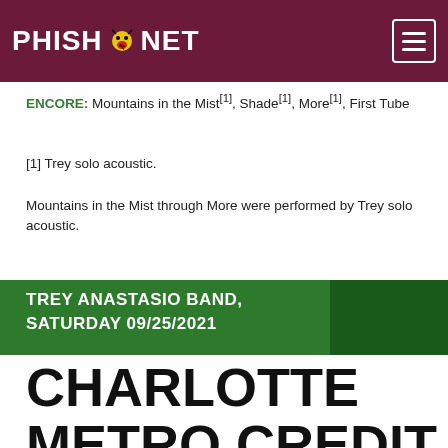PHISH.NET
ENCORE: Mountains in the Mist[1], Shade[1], More[1], First Tube
[1] Trey solo acoustic.
Mountains in the Mist through More were performed by Trey solo acoustic.
TREY ANASTASIO BAND, SATURDAY 09/25/2021
CHARLOTTE METRO CREDIT UNION AMPHITHEATRE